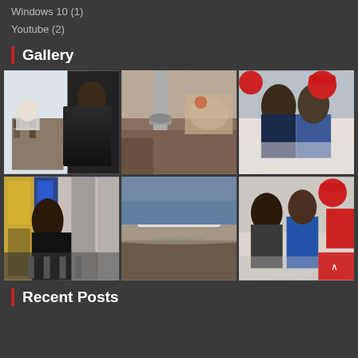Windows 10 (1)
Youtube (2)
Gallery
[Figure (photo): Photo 1: Man speaking near bookshelves]
[Figure (photo): Photo 2: Close-up of a metal pole/pipe in a street scene]
[Figure (photo): Photo 3: Two men seated, one in red cap, at an outdoor event]
[Figure (photo): Photo 4: Man speaking at microphones with Uganda flags in background]
[Figure (photo): Photo 5: Airplane flying over mountains, ugandaposttalks.com watermark]
[Figure (photo): Photo 6: Two men in conversation at outdoor event, red cap visible]
Recent Posts